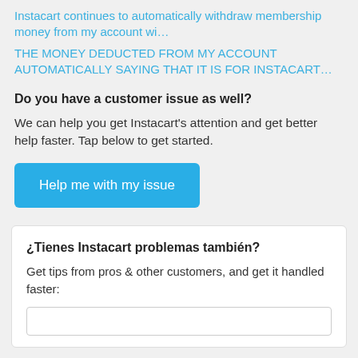Instacart continues to automatically withdraw membership money from my account wi…
THE MONEY DEDUCTED FROM MY ACCOUNT AUTOMATICALLY SAYING THAT IT IS FOR INSTACART…
Do you have a customer issue as well?
We can help you get Instacart's attention and get better help faster. Tap below to get started.
Help me with my issue
¿Tienes Instacart problemas también?
Get tips from pros & other customers, and get it handled faster: